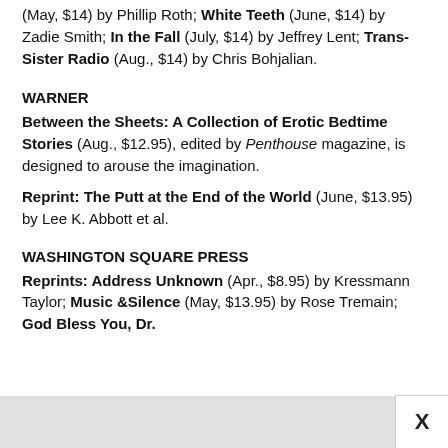(May, $14) by Phillip Roth; White Teeth (June, $14) by Zadie Smith; In the Fall (July, $14) by Jeffrey Lent; Trans-Sister Radio (Aug., $14) by Chris Bohjalian.
WARNER
Between the Sheets: A Collection of Erotic Bedtime Stories (Aug., $12.95), edited by Penthouse magazine, is designed to arouse the imagination.
Reprint: The Putt at the End of the World (June, $13.95) by Lee K. Abbott et al.
WASHINGTON SQUARE PRESS
Reprints: Address Unknown (Apr., $8.95) by Kressmann Taylor; Music &Silence (May, $13.95) by Rose Tremain; God Bless You, Dr.